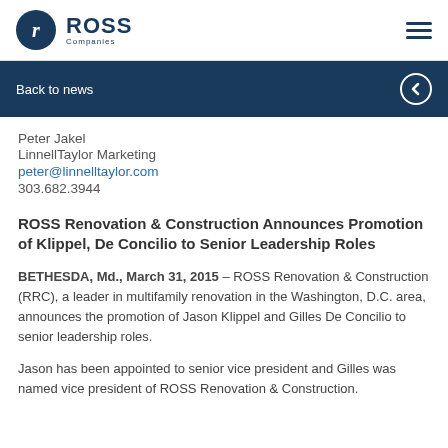ROSS Companies — Back to news navigation
Peter Jakel
LinnellTaylor Marketing
peter@linnelltaylor.com
303.682.3944
ROSS Renovation & Construction Announces Promotion of Klippel, De Concilio to Senior Leadership Roles
BETHESDA, Md., March 31, 2015 – ROSS Renovation & Construction (RRC), a leader in multifamily renovation in the Washington, D.C. area, announces the promotion of Jason Klippel and Gilles De Concilio to senior leadership roles.
Jason has been appointed to senior vice president and Gilles was named vice president of BOSS Renovation & Construction.